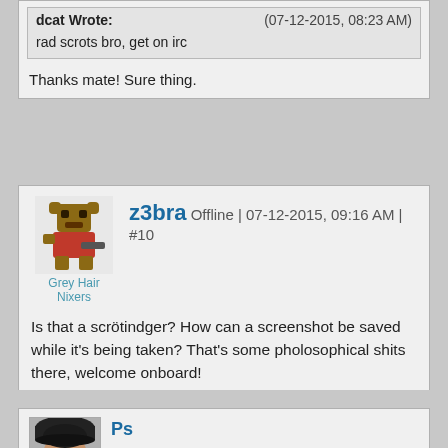dcat Wrote: (07-12-2015, 08:23 AM)
rad scrots bro, get on irc
Thanks mate! Sure thing.
z3bra Offline | 07-12-2015, 09:16 AM | #10
Grey Hair Nixers
Is that a scrötindger? How can a screenshot be saved while it's being taken? That's some pholosophical shits there, welcome onboard!
[Figure (photo): Partial avatar photo of a person wearing a dark cap, cropped at bottom of page]